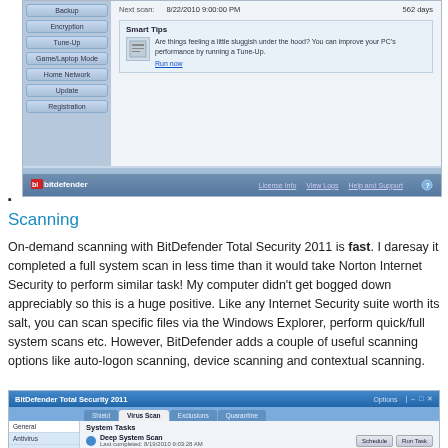[Figure (screenshot): BitDefender settings window showing Backup, Encryption, Tune-Up, Game/Laptop Mode, Home Network, Update, Registration sidebar items; Smart Tips panel with Tune-Up suggestion; Next scan date 8/22/2010 9:00:00 PM, 562 days; footer bar with license info, view logs, help and support links; BitDefender logo at bottom]
•
Scanning
On-demand scanning with BitDefender Total Security 2011 is fast. I daresay it completed a full system scan in less time than it would take Norton Internet Security to perform similar task! My computer didn't get bogged down appreciably so this is a huge positive. Like any Internet Security suite worth its salt, you can scan specific files via the Windows Explorer, perform quick/full system scans etc. However, BitDefender adds a couple of useful scanning options like auto-logon scanning, device scanning and contextual scanning.
[Figure (screenshot): BitDefender Total Security 2011 window with Shield, Virus Scan (active tab), Exclusions, Quarantine tabs; left panel showing General, Antivirus items; System Tasks section with Deep System Scan entry, Last completed: 8/19/2010 9:03:28 AM; Schedule and Run Task buttons]